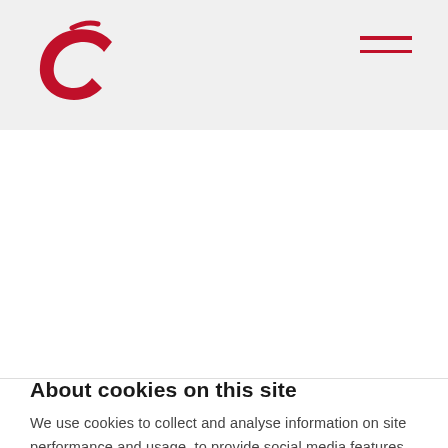[Figure (logo): Red stylized letter C logo in top left of header]
[Figure (other): Hamburger menu icon (two red horizontal lines) in top right of header]
About cookies on this site
We use cookies to collect and analyse information on site performance and usage, to provide social media features and to enhance and customise content and advertisements. Learn more